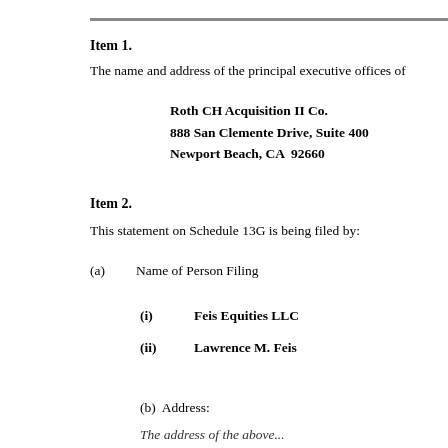Item 1.
The name and address of the principal executive offices of
Roth CH Acquisition II Co.
888 San Clemente Drive, Suite 400
Newport Beach, CA  92660
Item 2.
This statement on Schedule 13G is being filed by:
(a)   Name of Person Filing
(i)   Feis Equities LLC
(ii)  Lawrence M. Feis
(b)  Address:
The address of the above...